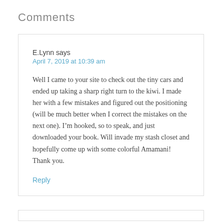Comments
E.Lynn says
April 7, 2019 at 10:39 am
Well I came to your site to check out the tiny cars and ended up taking a sharp right turn to the kiwi. I made her with a few mistakes and figured out the positioning (will be much better when I correct the mistakes on the next one). I'm hooked, so to speak, and just downloaded your book. Will invade my stash closet and hopefully come up with some colorful Amamani! Thank you.
Reply